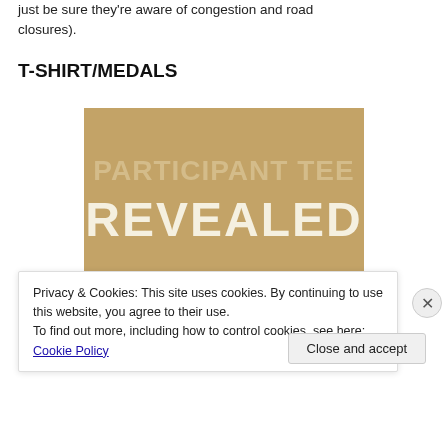just be sure they're aware of congestion and road closures).
T-SHIRT/MEDALS
[Figure (photo): Promotional image with tan/kraft paper background showing large stylized text 'PARTICIPANT TEE REVEALED' with red t-shirts visible at the bottom.]
Privacy & Cookies: This site uses cookies. By continuing to use this website, you agree to their use.
To find out more, including how to control cookies, see here: Cookie Policy
Close and accept